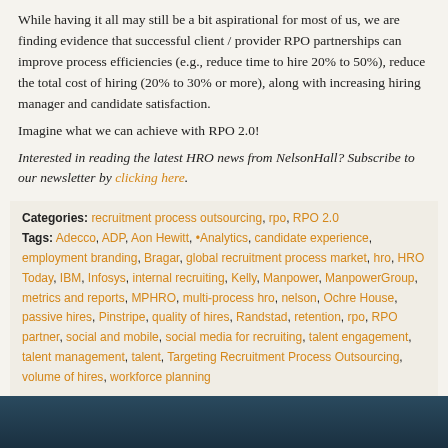While having it all may still be a bit aspirational for most of us, we are finding evidence that successful client / provider RPO partnerships can improve process efficiencies (e.g., reduce time to hire 20% to 50%), reduce the total cost of hiring (20% to 30% or more), along with increasing hiring manager and candidate satisfaction.
Imagine what we can achieve with RPO 2.0!
Interested in reading the latest HRO news from NelsonHall? Subscribe to our newsletter by clicking here.
Categories: recruitment process outsourcing, rpo, RPO 2.0
Tags: Adecco, ADP, Aon Hewitt, •Analytics, candidate experience, employment branding, Bragar, global recruitment process market, hro, HRO Today, IBM, Infosys, internal recruiting, Kelly, Manpower, ManpowerGroup, metrics and reports, MPHRO, multi-process hro, nelson, Ochre House, passive hires, Pinstripe, quality of hires, Randstad, retention, rpo, RPO part, social and mobile, social media for recruiting, talent engagement, talent management, tale, Targeting Recruitment Process Outsourcing, volume of hires, workforce planning
Comments: Be the first to comment